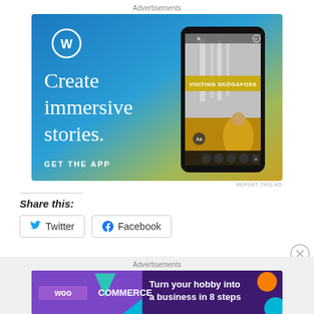Advertisements
[Figure (illustration): WordPress advertisement with blue gradient background. WordPress 'W' logo in white circle at top left. Large text: 'Create immersive stories.' in white serif font. 'GET THE APP' in white bold uppercase letters. Right side shows a phone mockup displaying 'VISITING SKOGAFOSS' story with waterfall and person in yellow jacket.]
REPORT THIS AD
Share this:
[Figure (screenshot): Twitter share button with bird icon]
[Figure (screenshot): Facebook share button with f icon]
Advertisements
[Figure (illustration): WooCommerce advertisement on dark purple background. WooCommerce logo in white on left purple section with teal triangle and blue circle accent shapes. Right side text: 'Turn your hobby into a business in 8 steps' in white bold. Orange circle and cyan shape on far right.]